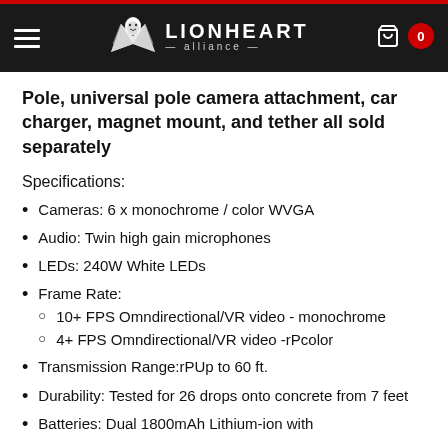LIONHEART alliance
Pole, universal pole camera attachment, car charger, magnet mount, and tether all sold separately
Specifications:
Cameras: 6 x monochrome / color WVGA
Audio: Twin high gain microphones
LEDs: 240W White LEDs
Frame Rate:
  - 10+ FPS Omndirectional/VR video - monochrome
  - 4+ FPS Omndirectional/VR video -rPcolor
Transmission Range:rPUp to 60 ft.
Durability: Tested for 26 drops onto concrete from 7 feet
Batteries: Dual 1800mAh Lithium-ion with